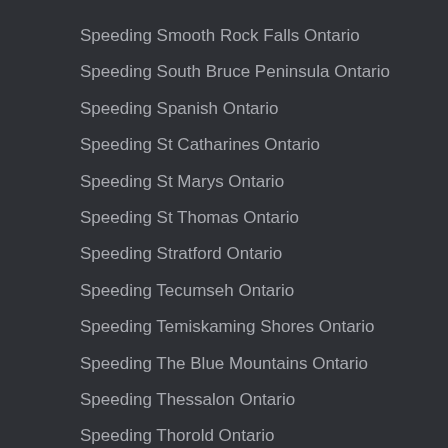Speeding Smooth Rock Falls Ontario
Speeding South Bruce Peninsula Ontario
Speeding Spanish Ontario
Speeding St Catharines Ontario
Speeding St Marys Ontario
Speeding St Thomas Ontario
Speeding Stratford Ontario
Speeding Tecumseh Ontario
Speeding Temiskaming Shores Ontario
Speeding The Blue Mountains Ontario
Speeding Thessalon Ontario
Speeding Thorold Ontario
Speeding Thunder Bay Ontario
Speeding Tillsonburg Ontario